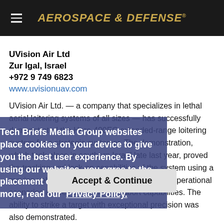AEROSPACE & DEFENSE
UVision Air Ltd
Zur Igal, Israel
+972 9 749 6823
www.uvisionuav.com
UVision Air Ltd. — a company that specializes in lethal aerial loitering systems of all sizes — has successfully demonstrated the Hero-400EC extended-range loitering system for a strategic customer. The demonstration, which took place in southern Israel late last year, proved the tracking and lock-on capabilities of the system using a moving vehicle and a human target in various operational scenarios as well as its mission-abort capabilities. The ability to strike a target with exceptional precision was also demonstrated.
The Hero-400EC features a new electric motor that delivers high-speed transit and low-speed loitering with much lower acoustic and thermal signatures, thus improving stealth. The unique
Tech Briefs Media Group websites place cookies on your device to give you the best user experience. By using our websites, you agree to the placement of these cookies. To learn more, read our  Privacy Policy.
Accept & Continue